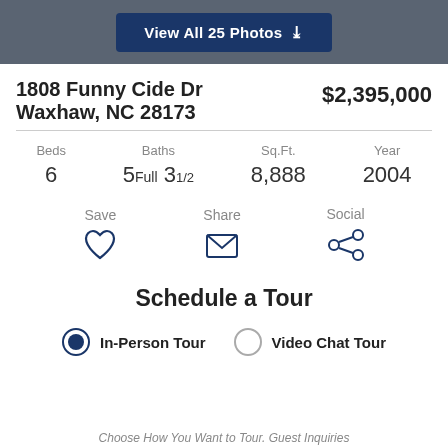View All 25 Photos
1808 Funny Cide Dr
Waxhaw, NC 28173
$2,395,000
Beds: 6 | Baths: 5 Full 3 1/2 | Sq.Ft.: 8,888 | Year: 2004
Save | Share | Social
Schedule a Tour
In-Person Tour | Video Chat Tour